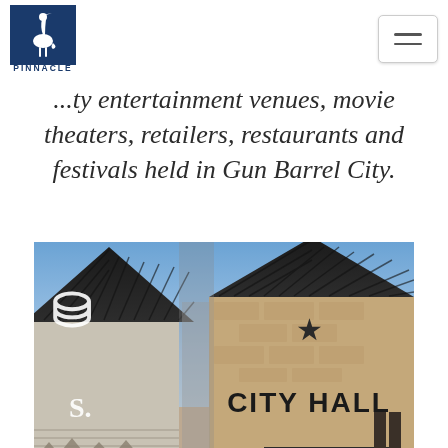PINNACLE
...ty entertainment venues, movie theaters, retailers, restaurants and festivals held in Gun Barrel City.
[Figure (photo): Exterior photo of Gun Barrel City Hall building with stone facade, dark metal roof, a star decoration, and CITY HALL signage. A white lion/crest emblem is visible on the left portion of the building.]